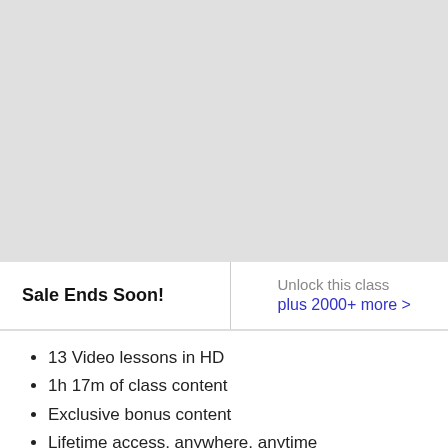[Figure (other): Gray placeholder image area at the top of the page]
Sale Ends Soon!
Unlock this class plus 2000+ more >
13 Video lessons in HD
1h 17m of class content
Exclusive bonus content
Lifetime access, anywhere, anytime
Streaming access on desktop and mobile